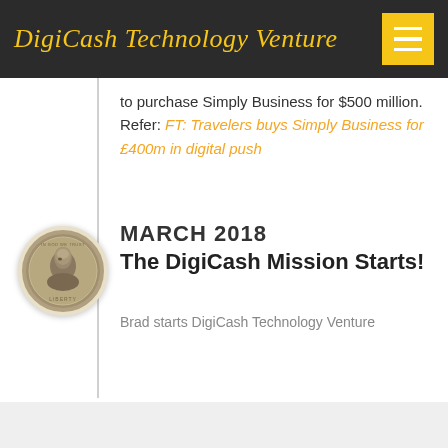DigiCash Technology Venture
to purchase Simply Business for $500 million.
Refer: FT: Travelers buys Simply Business for £400m in digital push
MARCH 2018
The DigiCash Mission Starts!
[Figure (photo): A US quarter coin shown in a circular frame]
Brad starts DigiCash Technology Venture